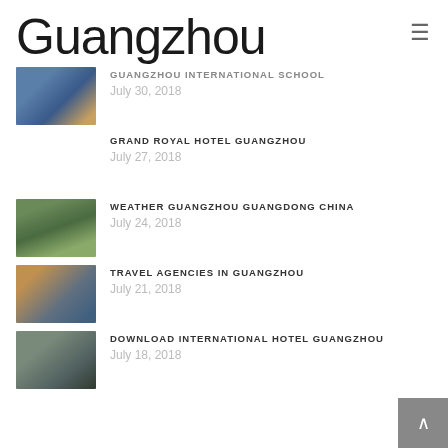Guangzhou
GUANGZHOU INTERNATIONAL SCHOOL
July 30, 2018
GRAND ROYAL HOTEL GUANGZHOU
July 27, 2018
WEATHER GUANGZHOU GUANGDONG CHINA
July 24, 2018
TRAVEL AGENCIES IN GUANGZHOU
July 21, 2018
DOWNLOAD INTERNATIONAL HOTEL GUANGZHOU
July 18, 2018